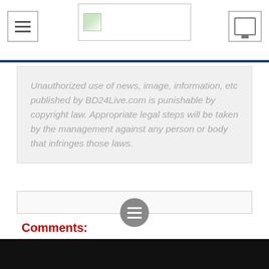[BD24Live.com logo and navigation header]
Unauthorized use of news, image, information, etc published by BD24Live.com is punishable by copyright law. Appropriate legal steps will be taken by the management against any person or body that infringes those laws.
Comments:
Latest
Report against anti-state propaganda mongers abroad to concerned country: Ha